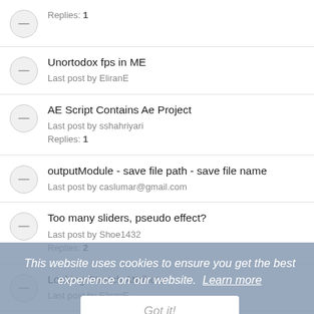Replies: 1
Unortodox fps in ME
Last post by EliranE
AE Script Contains Ae Project
Last post by sshahriyari
Replies: 1
outputModule - save file path - save file name
Last post by caslumar@gmail.com
Too many sliders, pseudo effect?
Last post by Shoe1432
Replies: 2
Locking Stretch Attribute
Last post by EliranE
Unable to .save()
Last post by EliranE
This website uses cookies to ensure you get the best experience on our website. Learn more
Got it!